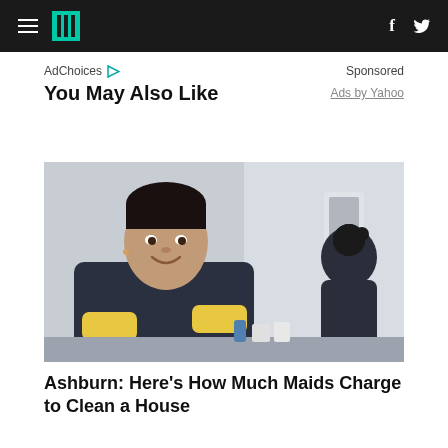HuffPost navigation with hamburger menu, logo, Facebook and Twitter icons
AdChoices ▷    Sponsored
You May Also Like
Ads by Yahoo
[Figure (photo): Two women in dark scrubs cleaning a room. The woman in the foreground smiles at the camera with arms crossed and yellow rubber gloves. A second woman works in the background near a wall-mounted dispenser.]
Ashburn: Here's How Much Maids Charge to Clean a House